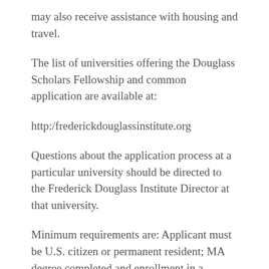may also receive assistance with housing and travel.
The list of universities offering the Douglass Scholars Fellowship and common application are available at:
http:/frederickdouglassinstitute.org
Questions about the application process at a particular university should be directed to the Frederick Douglass Institute Director at that university.
Minimum requirements are: Applicant must be U.S. citizen or permanent resident; MA degree completed and enrollment in a terminal degree program (Ph.D., MFA, Ed. D, etc.); academic background in one of the disciplines taught at the university. Preferred: teaching experience; currently ABD or doctorate within last two